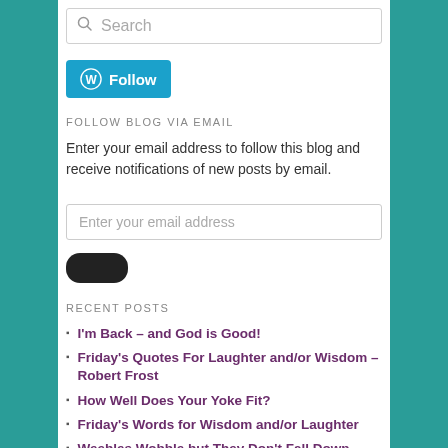Search
[Figure (other): WordPress Follow button in teal/blue with WordPress logo icon and 'Follow' text]
FOLLOW BLOG VIA EMAIL
Enter your email address to follow this blog and receive notifications of new posts by email.
Enter your email address
[Figure (other): Dark rounded submit button]
RECENT POSTS
I'm Back – and God is Good!
Friday's Quotes For Laughter and/or Wisdom – Robert Frost
How Well Does Your Yoke Fit?
Friday's Words for Wisdom and/or Laughter
Weebles Wobble but They Don't Fall Down
Friday's List of Quotes – Change Is Part of Life